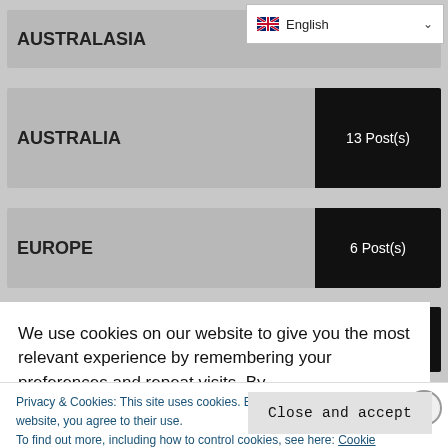AUSTRALASIA
[Figure (screenshot): English language selector dropdown with UK flag]
AUSTRALIA
13 Post(s)
EUROPE
6 Post(s)
7 Post(s)
We use cookies on our website to give you the most relevant experience by remembering your preferences and repeat visits. By
Privacy & Cookies: This site uses cookies. By continuing to use this website, you agree to their use.
To find out more, including how to control cookies, see here: Cookie Policy
Close and accept